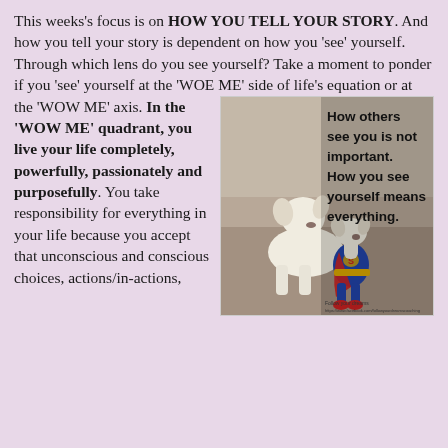This weeks's focus is on HOW YOU TELL YOUR STORY. And how you tell your story is dependent on how you 'see' yourself. Through which lens do you see yourself? Take a moment to ponder if you 'see' yourself at the 'WOE ME' side of life's equation or at the 'WOW ME' axis.
[Figure (photo): A small dog wearing a Superman costume standing next to a larger plain dog, with overlaid text reading: 'How others see you is not important. How you see yourself means everything.']
In the 'WOW ME' quadrant, you live your life completely, powerfully, passionately and purposefully. You take responsibility for everything in your life because you accept that unconscious and conscious choices, actions/in-actions,